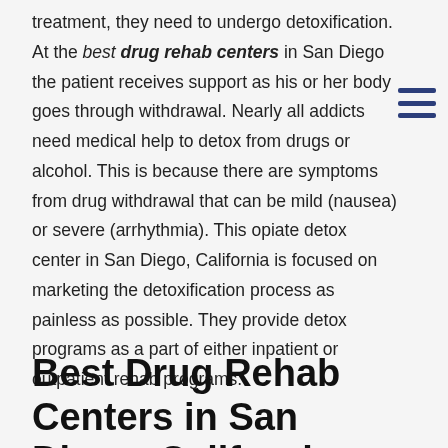treatment, they need to undergo detoxification. At the best drug rehab centers in San Diego the patient receives support as his or her body goes through withdrawal. Nearly all addicts need medical help to detox from drugs or alcohol. This is because there are symptoms from drug withdrawal that can be mild (nausea) or severe (arrhythmia). This opiate detox center in San Diego, California is focused on marketing the detoxification process as painless as possible. They provide detox programs as a part of either inpatient or outpatient rehab programs.
Best Drug Rehab Centers in San Diego, California